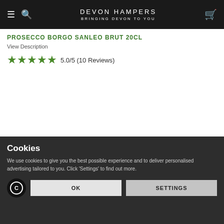DEVON HAMPERS BRINGING DEVON TO YOU
PROSECCO BORGO SANLEO BRUT 20CL
View Description
5.0/5 (10 Reviews)
Cookies
We use cookies to give you the best possible experience and to deliver personalised advertising tailored to you. Click 'Settings' to find out more.
OK
SETTINGS